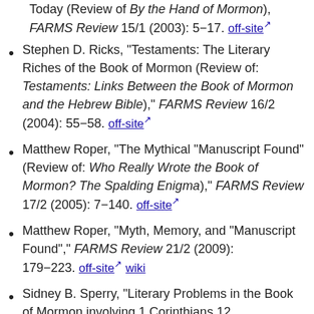Today (Review of By the Hand of Mormon), FARMS Review 15/1 (2003): 5–17. off-site
Stephen D. Ricks, "Testaments: The Literary Riches of the Book of Mormon (Review of: Testaments: Links Between the Book of Mormon and the Hebrew Bible)," FARMS Review 16/2 (2004): 55–58. off-site
Matthew Roper, "The Mythical "Manuscript Found" (Review of: Who Really Wrote the Book of Mormon? The Spalding Enigma)," FARMS Review 17/2 (2005): 7–140. off-site
Matthew Roper, "Myth, Memory, and "Manuscript Found"," FARMS Review 21/2 (2009): 179–223. off-site wiki
Sidney B. Sperry, "Literary Problems in the Book of Mormon involving 1 Corinthians 12